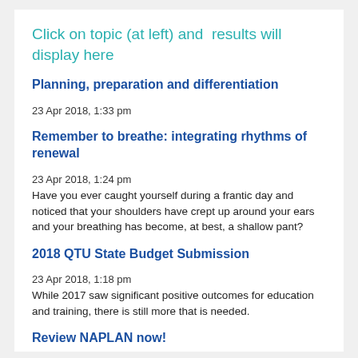Click on topic (at left) and  results will display here
Planning, preparation and differentiation
23 Apr 2018, 1:33 pm
Remember to breathe: integrating rhythms of renewal
23 Apr 2018, 1:24 pm
Have you ever caught yourself during a frantic day and noticed that your shoulders have crept up around your ears and your breathing has become, at best, a shallow pant?
2018 QTU State Budget Submission
23 Apr 2018, 1:18 pm
While 2017 saw significant positive outcomes for education and training, there is still more that is needed.
Review NAPLAN now!